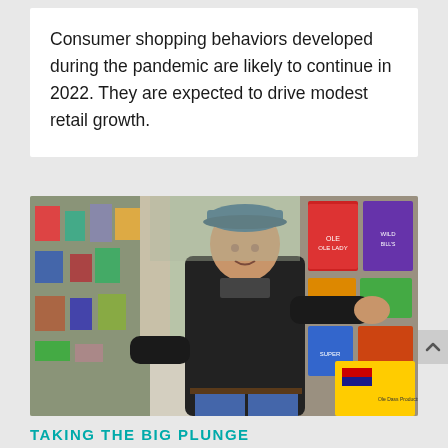Consumer shopping behaviors developed during the pandemic are likely to continue in 2022. They are expected to drive modest retail growth.
[Figure (photo): A man in a black jacket and baseball cap standing in a retail store aisle, leaning on a shelf stocked with various packaged goods including snacks and chips. A yellow sign is visible on the shelf.]
TAKING THE BIG PLUNGE